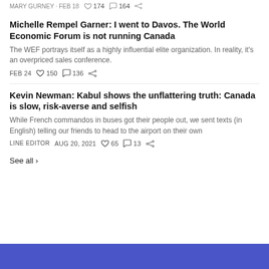MARY GURNEY · FEB 18 · 174 · 164
Michelle Rempel Garner: I went to Davos. The World Economic Forum is not running Canada
The WEF portrays itself as a highly influential elite organization. In reality, it's an overpriced sales conference.
FEB 24 · 150 · 136
Kevin Newman: Kabul shows the unflattering truth: Canada is slow, risk-averse and selfish
While French commandos in buses got their people out, we sent texts (in English) telling our friends to head to the airport on their own
LINE EDITOR · AUG 20, 2021 · 65 · 13
See all ›